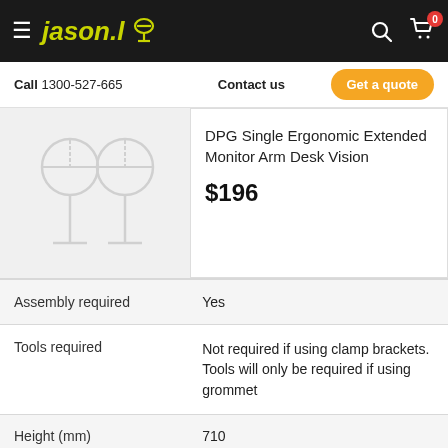jason.l — navigation bar with logo, search and cart icons
Call 1300-527-665   Contact us   Get a quote
[Figure (illustration): Placeholder image showing a monitor arm silhouette outline in light gray]
DPG Single Ergonomic Extended Monitor Arm Desk Vision
$196
| Attribute | Value |
| --- | --- |
| Assembly required | Yes |
| Tools required | Not required if using clamp brackets. Tools will only be required if using grommet |
| Height (mm) | 710 |
| Width (mm) | 400 |